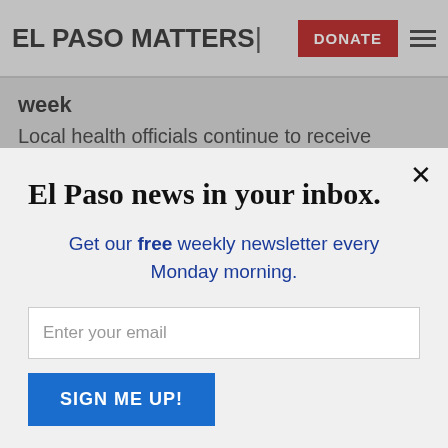EL PASO MATTERS|
week
Local health officials continue to receive tifications from the state for f
El Paso news in your inbox.
Get our free weekly newsletter every Monday morning.
Enter your email
SIGN ME UP!